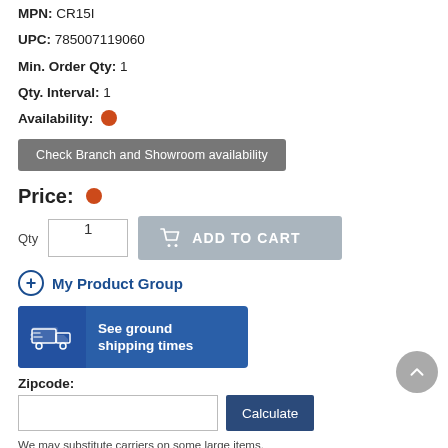MPN: CR15I
UPC: 785007119060
Min. Order Qty: 1
Qty. Interval: 1
Availability: [orange dot]
Check Branch and Showroom availability
Price: [orange dot]
Qty  1  ADD TO CART
My Product Group
[Figure (infographic): Blue banner with truck icon and text: See ground shipping times]
Zipcode:
[Zipcode input field]  Calculate
We may substitute carriers on some large items.